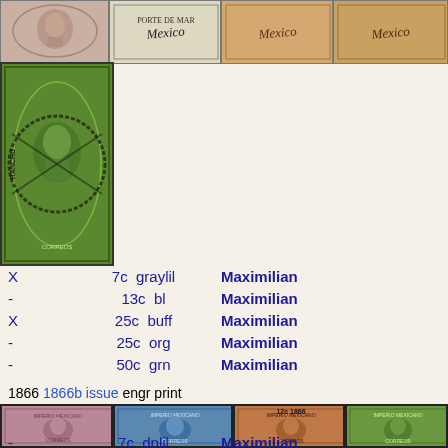[Figure (photo): Four postage stamps in a row at the top: pinkish-mauve, dark blue with Mexico text, orange-tan with Mexico text, orange-tan with Mexico text]
[Figure (photo): Large green stamp with portrait, heavily cancelled with circular postmark reading RANCHU or similar]
X    7c  graylil    Maximilian
-    13c  bl         Maximilian
X    25c  buff       Maximilian
-    25c  org        Maximilian
-    50c  grn        Maximilian
1866  1866b issue  engr  print
[Figure (photo): Four postage stamps in a row at the bottom: mauve/lilac, blue, orange-brown with '12c 1866' cancel, green — all showing Maximilian portrait, Imperio Mexicano]
-    7c  dplil    Maximilian